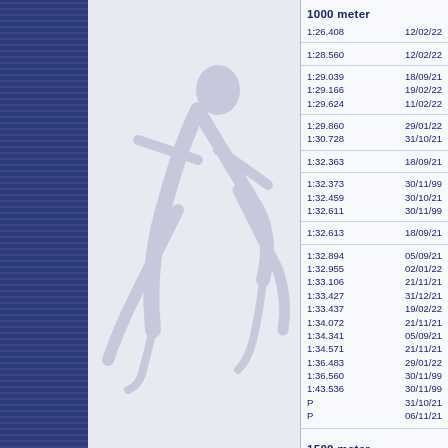1000 meter
| Time | Date |
| --- | --- |
| 1:26.408 | 12/02/22 |
| 1:28.560 | 12/02/22 |
| 1:29.039 | 18/09/21 |
| 1:29.166 | 19/02/22 |
| 1:29.624 | 11/02/22 |
| 1:29.860 | 29/01/22 |
| 1:30.728 | 31/10/21 |
| 1:32.363 | 18/09/21 |
| 1:32.373 | 30/11/99 |
| 1:32.459 | 30/10/21 |
| 1:32.611 | 30/11/99 |
| 1:32.613 | 18/09/21 |
| 1:32.894 | 05/09/21 |
| 1:32.955 | 02/01/22 |
| 1:33.106 | 21/11/21 |
| 1:33.427 | 31/12/21 |
| 1:33.437 | 19/02/22 |
| 1:34.072 | 21/11/21 |
| 1:34.341 | 05/09/21 |
| 1:34.571 | 21/11/21 |
| 1:36.483 | 29/01/22 |
| 1:36.560 | 30/11/99 |
| 1:43.536 | 30/11/99 |
| P | 31/10/21 |
| P | 06/11/21 |
1500 meter
| Time | Date |
| --- | --- |
| 2:22.210 | 01/01/70 |